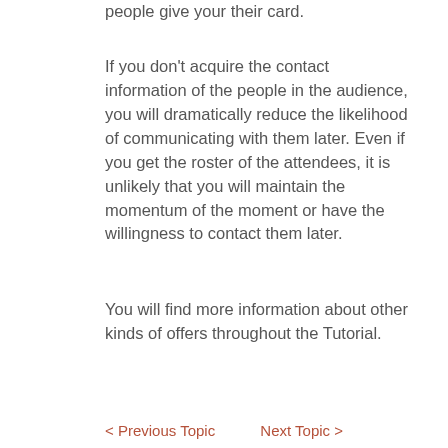people give your their card.
If you don't acquire the contact information of the people in the audience, you will dramatically reduce the likelihood of communicating with them later. Even if you get the roster of the attendees, it is unlikely that you will maintain the momentum of the moment or have the willingness to contact them later.
You will find more information about other kinds of offers throughout the Tutorial.
< Previous Topic    Next Topic >